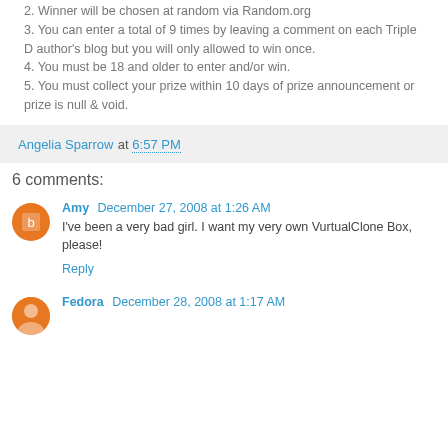1. Leave a comment and you'll be entered to win. 2. Winner will be chosen at random via Random.org 3. You can enter a total of 9 times by leaving a comment on each Triple D author's blog but you will only allowed to win once. 4. You must be 18 and older to enter and/or win. 5. You must collect your prize within 10 days of prize announcement or prize is null & void.
Angelia Sparrow at 6:57 PM
6 comments:
Amy December 27, 2008 at 1:26 AM
I've been a very bad girl. I want my very own VurtualClone Box, please!
Reply
Fedora December 28, 2008 at 1:17 AM